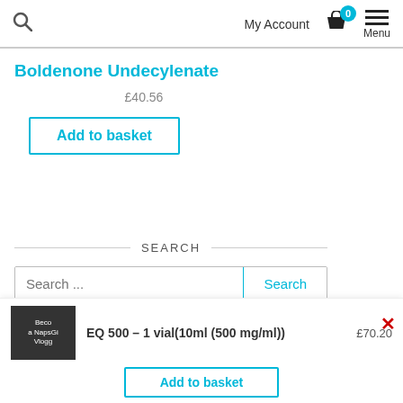Search | My Account | 0 | Menu
Boldenone Undecylenate
£40.56
Add to basket
SEARCH
Search ...
Search
[Figure (photo): Thumbnail image with text: Beco a NapsGi Vlogg]
EQ 500 – 1 vial(10ml (500 mg/ml))   £70.20
Add to basket